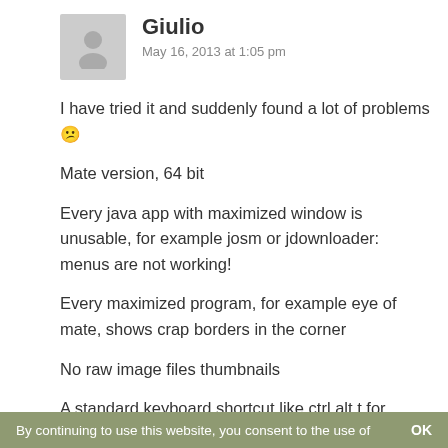[Figure (illustration): Gray placeholder avatar icon of a person silhouette]
Giulio
May 16, 2013 at 1:05 pm
I have tried it and suddenly found a lot of problems 😕
Mate version, 64 bit
Every java app with maximized window is unusable, for example josm or jdownloader: menus are not working!
Every maximized program, for example eye of mate, shows crap borders in the corner
No raw image files thumbnails
A standard keyboard shortcut like ctrl alt t for terminal is missing.
By continuing to use this website, you consent to the use of    OK